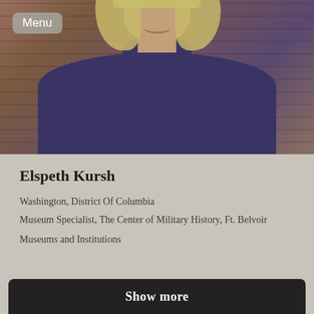[Figure (photo): Portrait photo of a woman with curly/wavy blonde hair wearing a dark navy/purple turtleneck sweater, smiling, with a brick wall background. A 'Menu' button overlay appears in the top-left corner.]
Elspeth Kursh
Washington, District Of Columbia
Museum Specialist, The Center of Military History, Ft. Belvoir
Museums and Institutions
Show more